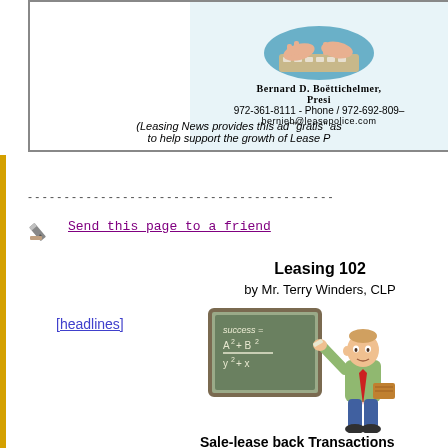[Figure (illustration): Advertisement box for Lease Police featuring an illustration of hands typing on a keyboard, with text: Bernard D. Boettichelmer, Presi[dent], 972-361-8111 - Phone / 972-692-809[x], bernieb@leasepolice.com, and a note that Leasing News provides this ad gratis to help support the growth of Lease P[olice]]
[headlines]
------------------------------------------------------------
[Figure (illustration): Pencil/pen icon for send email action]
Send this page to a friend
Leasing 102
by Mr. Terry Winders, CLP
[Figure (illustration): Cartoon illustration of a teacher standing next to a chalkboard that reads 'success = A² + B² / y² + x']
Sale-lease back Transactions